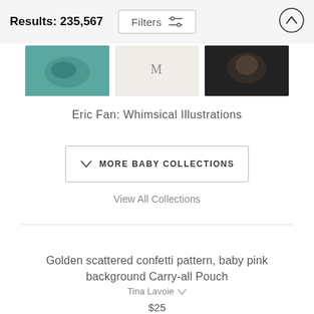Results: 235,567
[Figure (screenshot): Filters button with sliders icon and up-arrow button]
[Figure (photo): Three product thumbnail images in a horizontal strip: teal illustration, white/cream background with text, dark background with animal photo]
Eric Fan: Whimsical Illustrations
MORE BABY COLLECTIONS
View All Collections
Golden scattered confetti pattern, baby pink background Carry-all Pouch
Tina Lavoie
$25